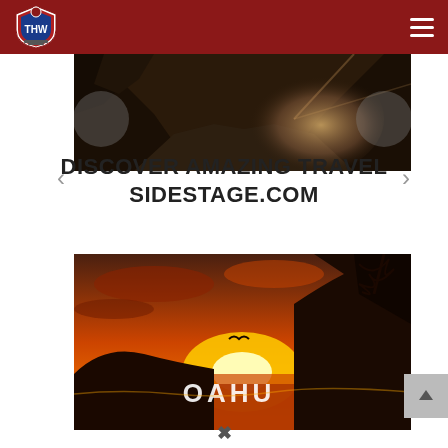THW logo and navigation header
[Figure (photo): Rocky coastal cave scene with sunlight breaking through rocks, dark dramatic tones]
DISCOVER AMAZING TRAVEL SIDESTAGE.COM
[Figure (photo): Oahu Hawaii sunset landscape with silhouetted cliffs and ocean, orange and red tones, text 'OAHU' overlaid]